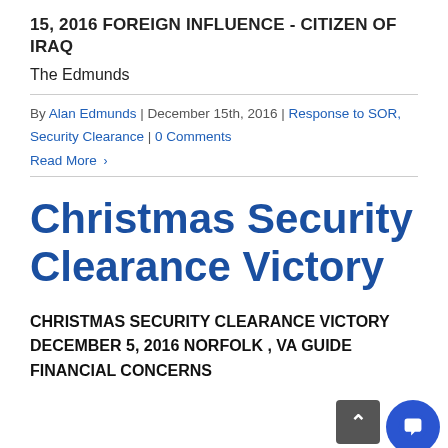15, 2016 FOREIGN INFLUENCE - CITIZEN OF IRAQ
The Edmunds
By Alan Edmunds | December 15th, 2016 | Response to SOR, Security Clearance | 0 Comments
Read More >
Christmas Security Clearance Victory
CHRISTMAS SECURITY CLEARANCE VICTORY DECEMBER 5, 2016 NORFOLK , VA GUIDELINE FINANCIAL CONCERNS